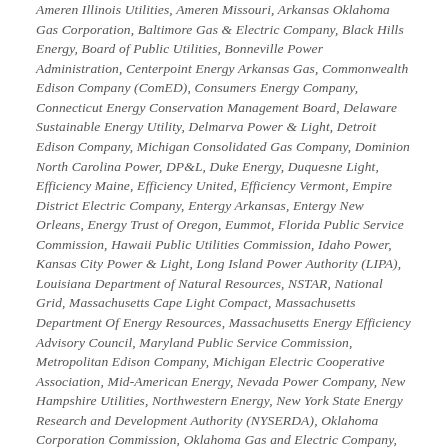Ameren Illinois Utilities, Ameren Missouri, Arkansas Oklahoma Gas Corporation, Baltimore Gas & Electric Company, Black Hills Energy, Board of Public Utilities, Bonneville Power Administration, Centerpoint Energy Arkansas Gas, Commonwealth Edison Company (ComED), Consumers Energy Company, Connecticut Energy Conservation Management Board, Delaware Sustainable Energy Utility, Delmarva Power & Light, Detroit Edison Company, Michigan Consolidated Gas Company, Dominion North Carolina Power, DP&L, Duke Energy, Duquesne Light, Efficiency Maine, Efficiency United, Efficiency Vermont, Empire District Electric Company, Entergy Arkansas, Entergy New Orleans, Energy Trust of Oregon, Eummot, Florida Public Service Commission, Hawaii Public Utilities Commission, Idaho Power, Kansas City Power & Light, Long Island Power Authority (LIPA), Louisiana Department of Natural Resources, NSTAR, National Grid, Massachusetts Cape Light Compact, Massachusetts Department Of Energy Resources, Massachusetts Energy Efficiency Advisory Council, Maryland Public Service Commission, Metropolitan Edison Company, Michigan Electric Cooperative Association, Mid-American Energy, Nevada Power Company, New Hampshire Utilities, Northwestern Energy, New York State Energy Research and Development Authority (NYSERDA), Oklahoma Corporation Commission, Oklahoma Gas and Electric Company, Pacific Power, PacifiCorp, Peco Energy Company, Pennsylvania Electric Company, Pepco, PNM, Potomac Edison, PPL Electric Utilities, Postal Regulatory Commission (PRC), National Association of Regulatory Utility Commissioners (NARUC), Progress